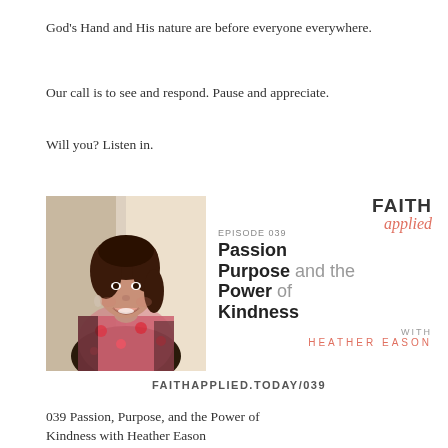God’s Hand and His nature are before everyone everywhere.
Our call is to see and respond. Pause and appreciate.
Will you?  Listen in.
[Figure (infographic): Podcast episode card for Faith Applied Episode 039: Passion Purpose and the Power of Kindness with Heather Eason. Includes a photo of a smiling woman with dark hair. URL: faithapplied.today/039]
039 Passion, Purpose, and the Power of Kindness with Heather Eason